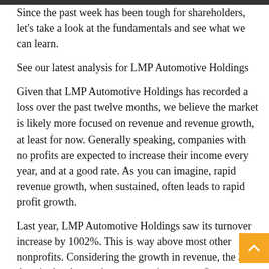Since the past week has been tough for shareholders, let's take a look at the fundamentals and see what we can learn.
See our latest analysis for LMP Automotive Holdings
Given that LMP Automotive Holdings has recorded a loss over the past twelve months, we believe the market is likely more focused on revenue and revenue growth, at least for now. Generally speaking, companies with no profits are expected to increase their income every year, and at a good rate. As you can imagine, rapid revenue growth, when sustained, often leads to rapid profit growth.
Last year, LMP Automotive Holdings saw its turnover increase by 1002%. This is way above most other nonprofits. Considering the growth in revenue, the 33% drop in the share price seems quite severe. Our sympathies to the shareholders who are now under water. On the positive side, if this company steers its profits in the right direction, such top-line growth